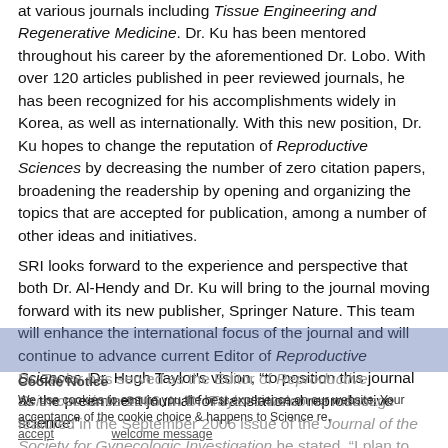at various journals including Tissue Engineering and Regenerative Medicine. Dr. Ku has been mentored throughout his career by the aforementioned Dr. Lobo. With over 120 articles published in peer reviewed journals, he has been recognized for his accomplishments widely in Korea, as well as internationally. With this new position, Dr. Ku hopes to change the reputation of Reproductive Sciences by decreasing the number of zero citation papers, broadening the readership by opening and organizing the topics that are accepted for publication, among a number of other ideas and initiatives.
SRI looks forward to the experience and perspective that both Dr. Al-Hendy and Dr. Ku will bring to the journal moving forward with its new publisher, Springer Nature. This team will enhance the international focus of the journal and will continue to advance current Editor of Reproductive Sciences, Dr. Hugh Taylor's vision, "to position this journal as the preeminent journal for translational reproductive science."
Dr. Taylor has served as the Editor of Reproductive Sciences since 2006. In Dr. Taylor's welcome message featured in the September 2006 issue of the Journal of the Society for Gynecologic Investigation he stated, "I plan to position this journal as the preeminent journal for translational reproductive